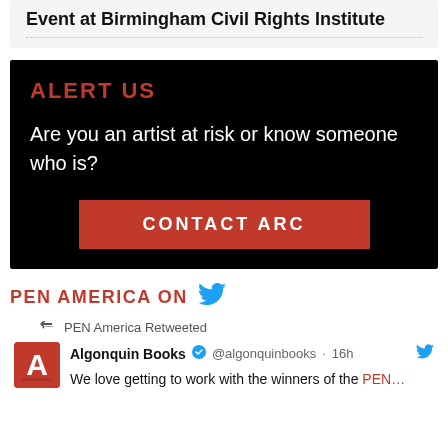Event at Birmingham Civil Rights Institute
ALERT US
Are you an artist at risk or know someone who is?
CONTACT ARC
PEN AMERICA ON
PEN America Retweeted
Algonquin Books @algonqminbooks · 16h
We love getting to work with the winners of the PEN…